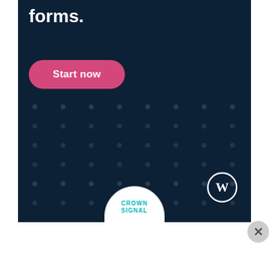[Figure (screenshot): Advertisement banner with dark navy background. Large white bold text reading 'forms.' at the top. A pink/magenta rounded button labeled 'Start now'. Decorative dot pattern in the background. WordPress logo (W in circle) in the lower right. A partial white circle with 'CROWN SIGNAL' teal text at the bottom.]
Advertisements
[Figure (screenshot): Advertisement strip with beauty/makeup themed images: red lips with makeup brush, brown makeup brush, eye with makeup, ULTA beauty logo, smokey eye makeup, and SHOP NOW text.]